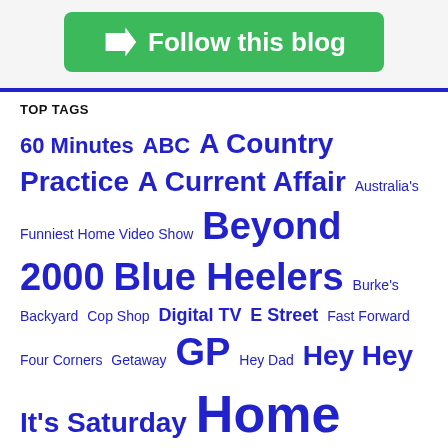[Figure (other): Green 'Follow this blog' button with arrow icon]
TOP TAGS
60 Minutes ABC A Country Practice A Current Affair Australia's Funniest Home Video Show Beyond 2000 Blue Heelers Burke's Backyard Cop Shop Digital TV E Street Fast Forward Four Corners Getaway GP Hey Dad Hey Hey It's Saturday Home And Away Homicide In Melbourne Tonight Midday Neighbours Network Ten Nine Network Nine News Number 96 Obituary Olympic Games Our House Police Rescue Prime Prisoner Sale Of The Century SBS Seven Network Seven Network Nine Southern Cross Ten News The Flying Doctors The Great Outdoors The Sullivans The Young Doctors Today TV